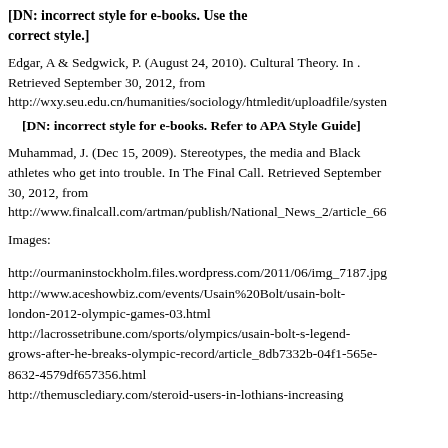[DN: incorrect style for e-books. Use the correct style.]
Edgar, A & Sedgwick, P. (August 24, 2010). Cultural Theory. In . Retrieved September 30, 2012, from http://wxy.seu.edu.cn/humanities/sociology/htmledit/uploadfile/systen
[DN: incorrect style for e-books. Refer to APA Style Guide]
Muhammad, J. (Dec 15, 2009). Stereotypes, the media and Black athletes who get into trouble. In The Final Call. Retrieved September 30, 2012, from http://www.finalcall.com/artman/publish/National_News_2/article_66
Images:
http://ourmaninstockholm.files.wordpress.com/2011/06/img_7187.jpg
http://www.aceshowbiz.com/events/Usain%20Bolt/usain-bolt-london-2012-olympic-games-03.html
http://lacrossetribune.com/sports/olympics/usain-bolt-s-legend-grows-after-he-breaks-olympic-record/article_8db7332b-04f1-565e-8632-4579df657356.html
http://themusclediary.com/steroid-users-in-lothians-increasing